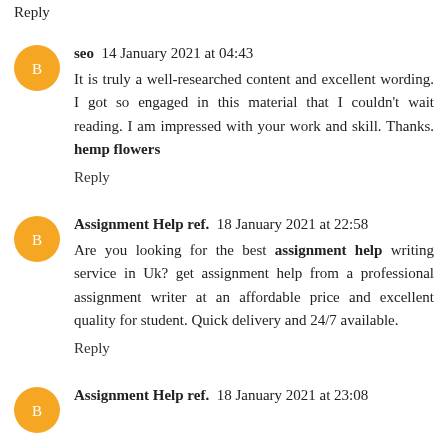Reply
seo  14 January 2021 at 04:43
It is truly a well-researched content and excellent wording. I got so engaged in this material that I couldn't wait reading. I am impressed with your work and skill. Thanks. hemp flowers
Reply
Assignment Help ref.  18 January 2021 at 22:58
Are you looking for the best assignment help writing service in Uk? get assignment help from a professional assignment writer at an affordable price and excellent quality for student. Quick delivery and 24/7 available.
Reply
Assignment Help ref.  18 January 2021 at 23:08